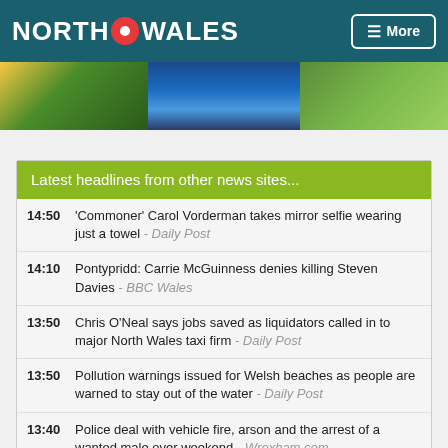NORTH DOT WALES
[Figure (photo): Banner image with three panels: flowers/plants on left, blue water reflection in center, green grass/field on right]
Latest headlines from other news sites...
14:50 'Commoner' Carol Vorderman takes mirror selfie wearing just a towel - Daily Post
14:10 Pontypridd: Carrie McGuinness denies killing Steven Davies - BBC Wales
13:50 Chris O'Neal says jobs saved as liquidators called in to major North Wales taxi firm - Daily Post
13:50 Pollution warnings issued for Welsh beaches as people are warned to stay out of the water - Daily Post
13:40 Police deal with vehicle fire, arson and the arrest of a wanted male over weekend - Wrexham.com
13:10 Liz Truss yn ennill y ras am arweinyddiaeth y Ceidwadwyr - BBC Wales